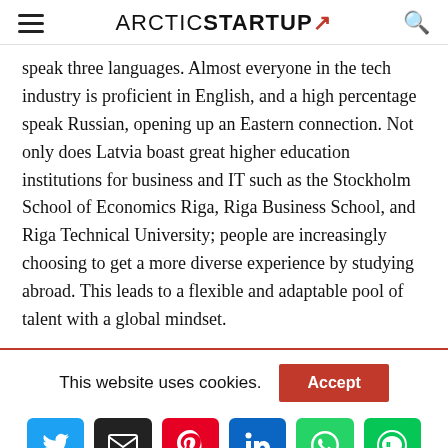ARCTIC STARTUP ↗
speak three languages. Almost everyone in the tech industry is proficient in English, and a high percentage speak Russian, opening up an Eastern connection. Not only does Latvia boast great higher education institutions for business and IT such as the Stockholm School of Economics Riga, Riga Business School, and Riga Technical University; people are increasingly choosing to get a more diverse experience by studying abroad. This leads to a flexible and adaptable pool of talent with a global mindset.
This website uses cookies.
[Figure (infographic): Social sharing buttons: Twitter, Email, Pinterest, LinkedIn, WhatsApp, Line]